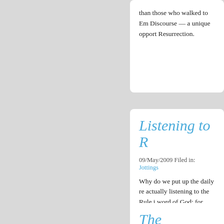than those who walked to Em... Discourse — a unique opport... Resurrection.
Listening to R...
09/May/2009 Filed in: Jottings
Why do we put up the daily re... actually listening to the Rule ... word of God: for allowing a h... private reading might allow u... frees us from a purely person... been struck by the fact that th... some quite different emphase... different forms in which it has... pondering. God hasn't finishe...
The Gentiles...